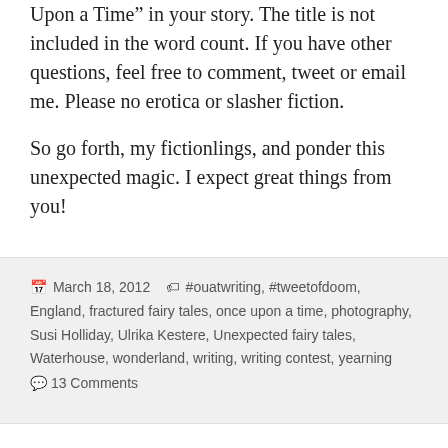Upon a Time" in your story. The title is not included in the word count. If you have other questions, feel free to comment, tweet or email me. Please no erotica or slasher fiction.
So go forth, my fictionlings, and ponder this unexpected magic. I expect great things from you!
March 18, 2012  #ouatwriting, #tweetofdoom, England, fractured fairy tales, once upon a time, photography, Susi Holliday, Ulrika Kestere, Unexpected fairy tales, Waterhouse, wonderland, writing, writing contest, yearning
13 Comments
In Search of the Creative: #22Things
My lovely friend and fellow NoInkling, Angie